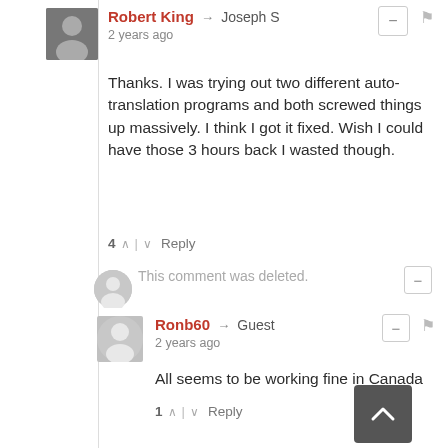Robert King → Joseph S
2 years ago
Thanks. I was trying out two different auto-translation programs and both screwed things up massively. I think I got it fixed. Wish I could have those 3 hours back I wasted though.
4 ∧ | ∨ Reply
This comment was deleted.
Ronb60 → Guest
2 years ago
All seems to be working fine in Canada
1 ∧ | ∨ Reply
This comment was deleted.
Gareth the Piper → Guest
2 years ago
Let him that has an ear to listen, listen!